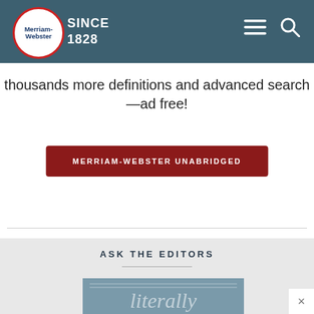Merriam-Webster SINCE 1828
thousands more definitions and advanced search —ad free!
MERRIAM-WEBSTER UNABRIDGED
ASK THE EDITORS
[Figure (illustration): A blue-gray card with decorative top border lines and the word 'literally' in large italic serif text in a muted white/light color]